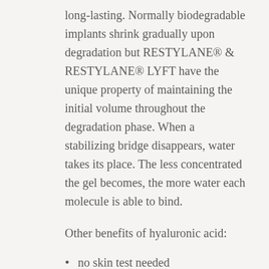long-lasting. Normally biodegradable implants shrink gradually upon degradation but RESTYLANE® & RESTYLANE® LYFT have the unique property of maintaining the initial volume throughout the degradation phase. When a stabilizing bridge disappears, water takes its place. The less concentrated the gel becomes, the more water each molecule is able to bind.
Other benefits of hyaluronic acid:
no skin test needed
hypersensitivity rate is 1 in 2,000
non-animal source
less expensive
lasts longer than fat or collagen